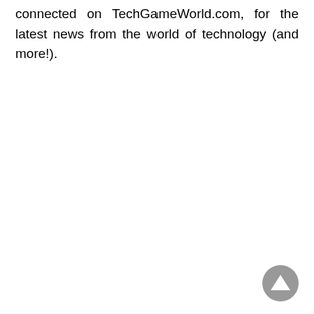connected on TechGameWorld.com, for the latest news from the world of technology (and more!).
[Figure (other): A circular grey scroll-to-top button with an upward-pointing triangle arrow in the bottom-right corner of the page.]